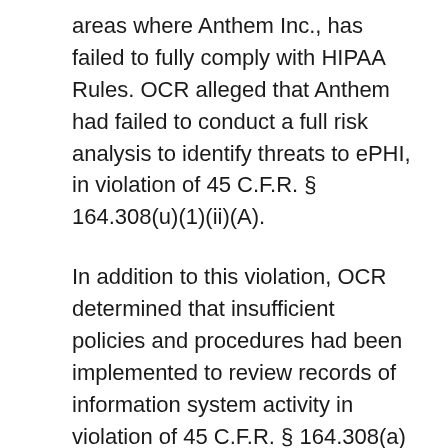areas where Anthem Inc., has failed to fully comply with HIPAA Rules. OCR alleged that Anthem had failed to conduct a full risk analysis to identify threats to ePHI, in violation of 45 C.F.R. § 164.308(u)(1)(ii)(A).
In addition to this violation, OCR determined that insufficient policies and procedures had been implemented to review records of information system activity in violation of 45 C.F.R. § 164.308(a)(1)(ii)(D), and there was a failure to restrict access to its systems and data to authorized individuals – a violation of 45 C.F.R. § 164.312(a).
Anthem had failed to prevent